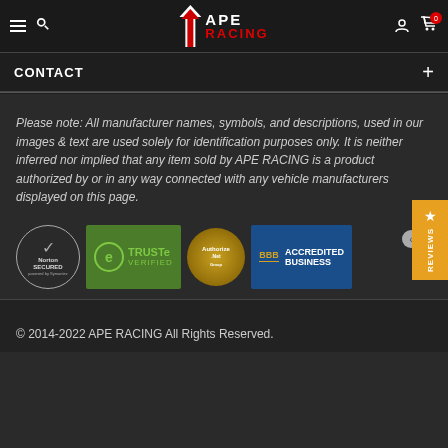[Figure (logo): APE RACING website header with hamburger menu, search icon, APE RACING logo, user icon, and cart icon with badge showing 0]
CONTACT
Please note: All manufacturer names, symbols, and descriptions, used in our images & text are used solely for identification purposes only. It is neither inferred nor implied that any item sold by APE RACING is a product authorized by or in any way connected with any vehicle manufacturers displayed on this page.
[Figure (infographic): Trust badge logos: Norton Secured powered by Symantec, TRUSTe Verified, Authorize.Net, BBB Accredited Business]
© 2014-2022 APE RACING All Rights Reserved.